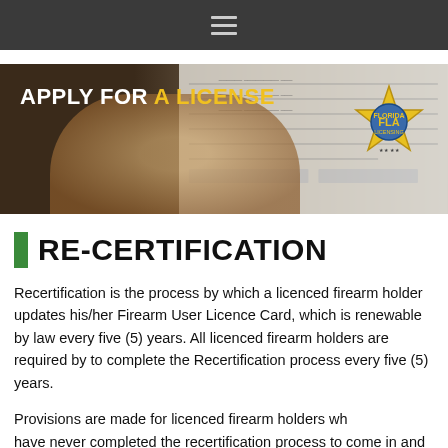≡ (navigation menu)
[Figure (photo): Banner image showing a hand filling out a form with text 'APPLY FOR A LICENSE' in white and yellow, and a Florida Firearms Licensing Authority (FLA) badge/star logo on the right.]
RE-CERTIFICATION
Recertification is the process by which a licenced firearm holder updates his/her Firearm User Licence Card, which is renewable by law every five (5) years. All licenced firearm holders are required by to complete the Recertification process every five (5) years.
Provisions are made for licenced firearm holders who have never completed the recertification process to come in and get up to date with the new system. Firearm Holders who fall in this category are to contact the FLA